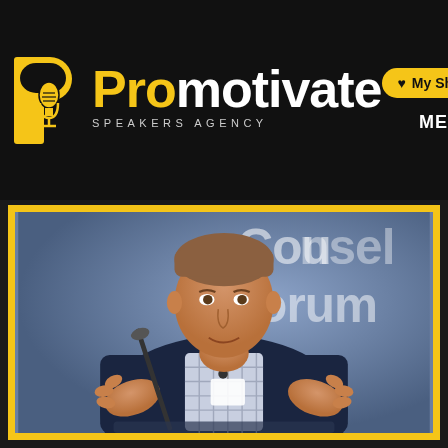[Figure (logo): Promotivate Speakers Agency logo — yellow 'P' with microphone icon, text 'Pro' in yellow and 'motivate' in white, 'SPEAKERS AGENCY' below in grey]
[Figure (other): Navigation bar elements: yellow 'My Shortlist' heart button and white MENU hamburger icon]
[Figure (photo): A man in a dark navy blazer and checked shirt gesturing with both hands while speaking at a 'Counsel Forum' event, with a microphone in front of him and a blue branded backdrop behind]